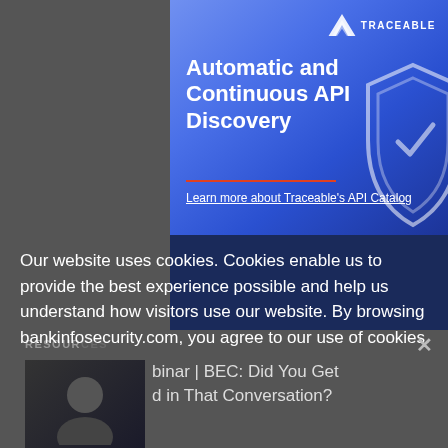[Figure (screenshot): Traceable advertisement banner for 'Automatic and Continuous API Discovery' with blue gradient background, Traceable logo top right, shield graphic on the right, red underline divider, and 'Learn more about Traceable's API Catalog' subtitle text]
Our website uses cookies. Cookies enable us to provide the best experience possible and help us understand how visitors use our website. By browsing bankinfosecurity.com, you agree to our use of cookies.
RESOURCES
×
[Figure (photo): Small thumbnail image of a person, dark toned]
binar | BEC: Did You Get d in That Conversation?